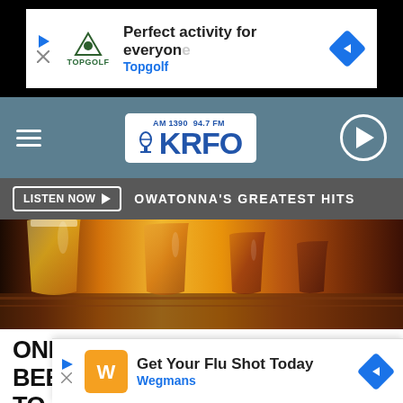[Figure (screenshot): Topgolf advertisement banner: 'Perfect activity for everyone' with Topgolf logo and navigation arrow]
[Figure (logo): KRFO AM 1390 94.7 FM radio station header with hamburger menu, logo, and play button]
LISTEN NOW  OWATONNA'S GREATEST HITS
[Figure (photo): Four beer glasses of varying amber and golden colors lined up on a wooden board, backlit]
ONE OF THE STATE'S LARGEST BEER SAMPLING EVENT IS SET TO HAP...
[Figure (screenshot): Wegmans 'Get Your Flu Shot Today' advertisement banner at bottom of page]